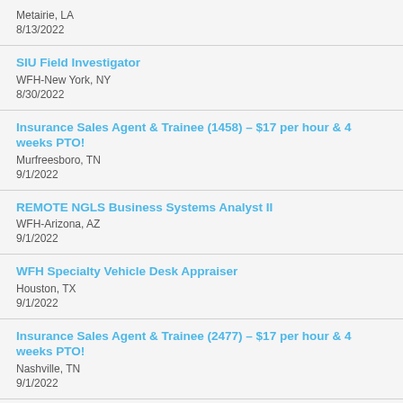Metairie, LA
8/13/2022
SIU Field Investigator
WFH-New York, NY
8/30/2022
Insurance Sales Agent & Trainee (1458) – $17 per hour & 4 weeks PTO!
Murfreesboro, TN
9/1/2022
REMOTE NGLS Business Systems Analyst II
WFH-Arizona, AZ
9/1/2022
WFH Specialty Vehicle Desk Appraiser
Houston, TX
9/1/2022
Insurance Sales Agent & Trainee (2477) – $17 per hour & 4 weeks PTO!
Nashville, TN
9/1/2022